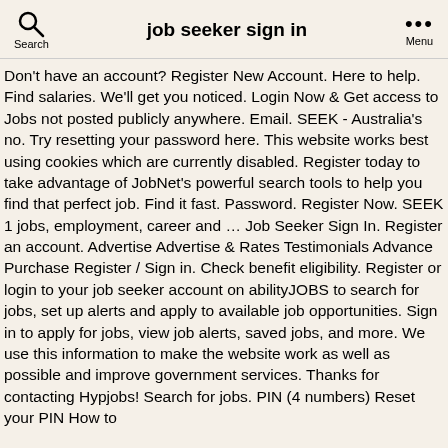job seeker sign in
Don't have an account? Register New Account. Here to help. Find salaries. We'll get you noticed. Login Now & Get access to Jobs not posted publicly anywhere. Email. SEEK - Australia's no. Try resetting your password here. This website works best using cookies which are currently disabled. Register today to take advantage of JobNet's powerful search tools to help you find that perfect job. Find it fast. Password. Register Now. SEEK 1 jobs, employment, career and … Job Seeker Sign In. Register an account. Advertise Advertise & Rates Testimonials Advance Purchase Register / Sign in. Check benefit eligibility. Register or login to your job seeker account on abilityJOBS to search for jobs, set up alerts and apply to available job opportunities. Sign in to apply for jobs, view job alerts, saved jobs, and more. We use this information to make the website work as well as possible and improve government services. Thanks for contacting Hypjobs! Search for jobs. PIN (4 numbers) Reset your PIN How to